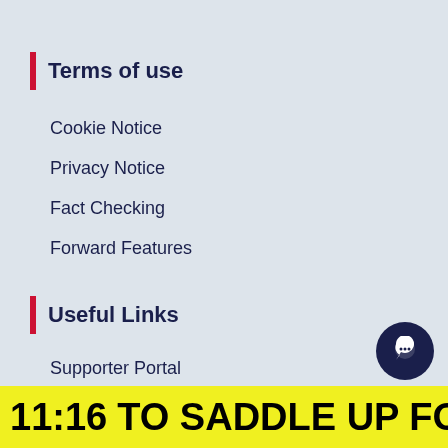Terms of use
Cookie Notice
Privacy Notice
Fact Checking
Forward Features
Useful Links
Supporter Portal
UK Charity Week
Charity Community
11:16  TO SADDLE UP FOR LOCAL